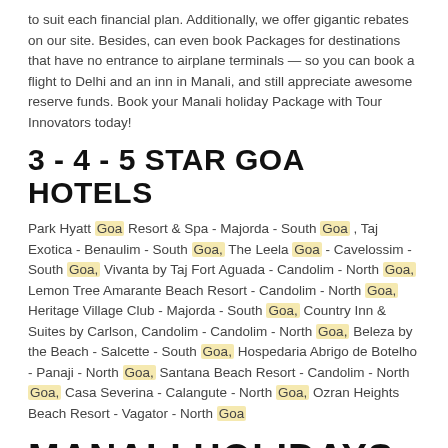to suit each financial plan. Additionally, we offer gigantic rebates on our site. Besides, can even book Packages for destinations that have no entrance to airplane terminals — so you can book a flight to Delhi and an inn in Manali, and still appreciate awesome reserve funds. Book your Manali holiday Package with Tour Innovators today!
3 - 4 - 5 STAR GOA HOTELS
Park Hyatt Goa Resort & Spa - Majorda - South Goa , Taj Exotica - Benaulim - South Goa, The Leela Goa - Cavelossim - South Goa, Vivanta by Taj Fort Aguada - Candolim - North Goa, Lemon Tree Amarante Beach Resort - Candolim - North Goa, Heritage Village Club - Majorda - South Goa, Country Inn & Suites by Carlson, Candolim - Candolim - North Goa, Beleza by the Beach - Salcette - South Goa, Hospedaria Abrigo de Botelho - Panaji - North Goa, Santana Beach Resort - Candolim - North Goa, Casa Severina - Calangute - North Goa, Ozran Heights Beach Resort - Vagator - North Goa
MANALI HOLIDAYS